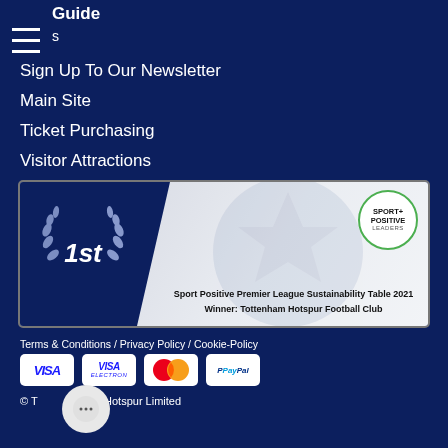Sign Up To Our Newsletter
Main Site
Ticket Purchasing
Visitor Attractions
[Figure (other): Sport Positive Premier League Sustainability Table 2021 Winner: Tottenham Hotspur Football Club — banner with 1st place laurel wreath on dark blue left panel and Sport Positive Leaders logo on right]
Sport Positive Premier League Sustainability Table 2021 Winner: Tottenham Hotspur Football Club
Terms & Conditions / Privacy Policy / Cookie-Policy
[Figure (other): Payment icons: VISA, VISA (Electron), Mastercard, PayPal]
© Tottenham Hotspur Limited